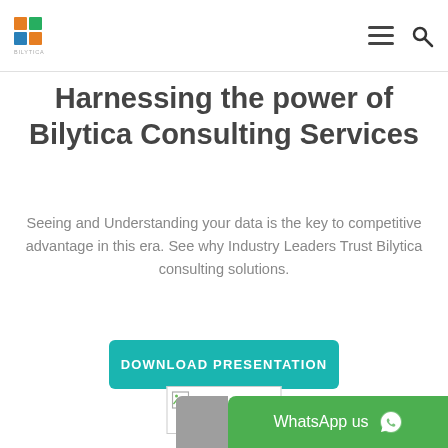Bilytica logo and navigation bar with hamburger menu and search icon
Harnessing the power of Bilytica Consulting Services
Seeing and Understanding your data is the key to competitive advantage in this era. See why Industry Leaders Trust Bilytica consulting solutions.
DOWNLOAD PRESENTATION
[Figure (photo): Broken image placeholder thumbnail]
WhatsApp us